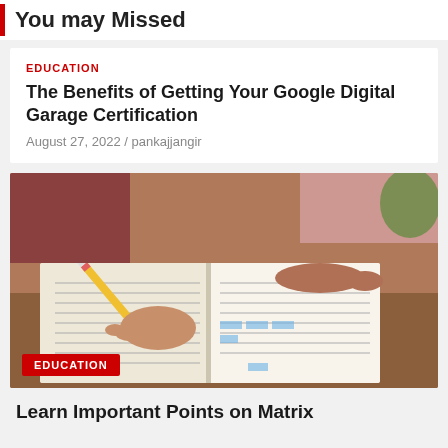You may Missed
EDUCATION
The Benefits of Getting Your Google Digital Garage Certification
August 27, 2022 / pankajjangir
[Figure (photo): Close-up of a person writing with a yellow pencil on an open book/textbook, with another person's hands visible in the background.]
EDUCATION
Learn Important Points on Matrix